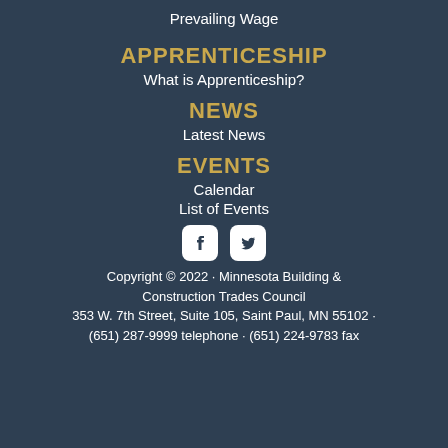Prevailing Wage
APPRENTICESHIP
What is Apprenticeship?
NEWS
Latest News
EVENTS
Calendar
List of Events
[Figure (illustration): Facebook and Twitter social media icons (white on rounded square)]
Copyright © 2022 · Minnesota Building & Construction Trades Council
353 W. 7th Street, Suite 105, Saint Paul, MN 55102 · (651) 287-9999 telephone · (651) 224-9783 fax